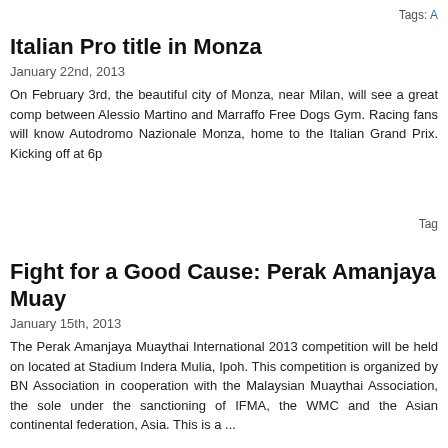Tags: A
Italian Pro title in Monza
January 22nd, 2013
On February 3rd, the beautiful city of Monza, near Milan, will see a great comp between Alessio Martino and Marraffo Free Dogs Gym. Racing fans will know Autodromo Nazionale Monza, home to the Italian Grand Prix. Kicking off at 6p
Tag
Fight for a Good Cause: Perak Amanjaya Muay
January 15th, 2013
The Perak Amanjaya Muaythai International 2013 competition will be held on located at Stadium Indera Mulia, Ipoh. This competition is organized by BN Association in cooperation with the Malaysian Muaythai Association, the sole under the sanctioning of IFMA, the WMC and the Asian continental federation, Asia. This is a ...
Tags: Ali Yaakub, Malaysian Muaythai Federation, Muaythai Perak,